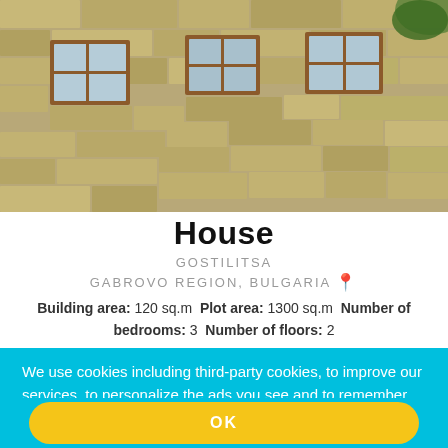[Figure (photo): Stone house building exterior with three wooden-framed windows visible on the upper floor, stone wall facade in golden-brown tones]
House
GOSTILITSA
GABROVO REGION, BULGARIA
Building area: 120 sq.m  Plot area: 1300 sq.m  Number of bedrooms: 3  Number of floors: 2
We use cookies including third-party cookies, to improve our services, to personalize the ads you see and to remember your preferences on our website. You consent to our cookies if you continue to use our website. For further information (e.g. how to disable your cookies) visit our Cookies policy!
OK